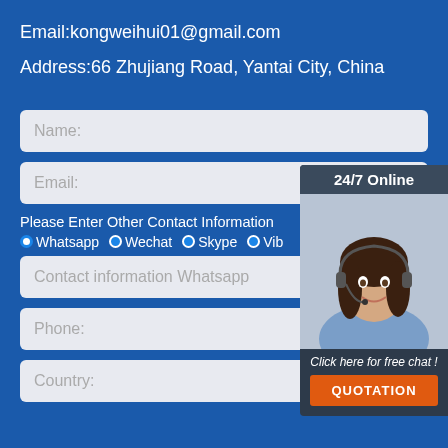Email:kongweihui01@gmail.com
Address:66 Zhujiang Road, Yantai City, China
[Figure (photo): Customer service representative with headset, smiling, with '24/7 Online' header, 'Click here for free chat!' text and orange QUOTATION button]
Name:
Email:
Please Enter Other Contact Information
OWhatsapp  OWechat  OSkype  OVib
Contact information Whatsapp
[Figure (logo): TOP badge logo in orange/red dots with 'TOP' text]
Phone:
Country: